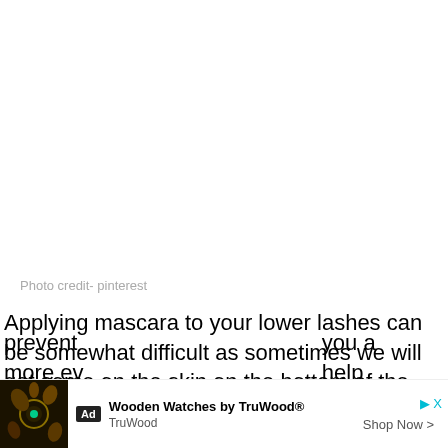[Figure (photo): White/blank photo area with photo credit below]
Photo credit- pinterest
Applying mascara to your lower lashes can be somewhat difficult as sometimes we will get some on the skin on the bottom of the lashes. That is when a plastic spoon will come in handy. Place the spoon on the bottom of the lashes before you apply mascara to prevent... you a more ev... help
[Figure (other): Advertisement banner: Wooden Watches by TruWood® - TruWood - Shop Now]